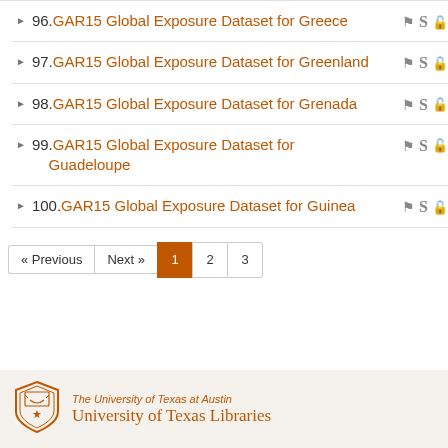96. GAR15 Global Exposure Dataset for Greece
97. GAR15 Global Exposure Dataset for Greenland
98. GAR15 Global Exposure Dataset for Grenada
99. GAR15 Global Exposure Dataset for Guadeloupe
100. GAR15 Global Exposure Dataset for Guinea
« Previous  Next »  1  2  3
[Figure (logo): University of Texas at Austin shield logo in orange]
The University of Texas at Austin University of Texas Libraries